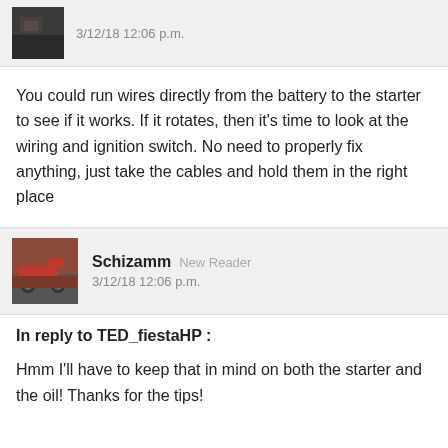3/12/18 12:06 p.m.
You could run wires directly from the battery to the starter to see if it works. If it rotates, then it's time to look at the wiring and ignition switch. No need to properly fix anything, just take the cables and hold them in the right place
Schizamm New Reader
3/12/18 12:06 p.m.
In reply to TED_fiestaHP :
Hmm I'll have to keep that in mind on both the starter and the oil! Thanks for the tips!